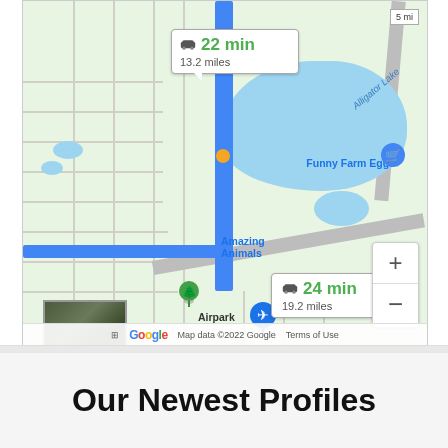[Figure (map): Google Maps screenshot showing a driving route. Two callout boxes: '22 min / 13.2 miles' at the top and '24 min / 19.2 miles' lower. Map shows Alligator Lake, Funny Farm Eggs, Amazing Animals, and Airpark labels. Blue route line runs vertically, with orange traffic dot. Zoom in/out controls visible. Google logo and 'Map data ©2022 Google  Terms of Use' in footer.]
Our Newest Profiles